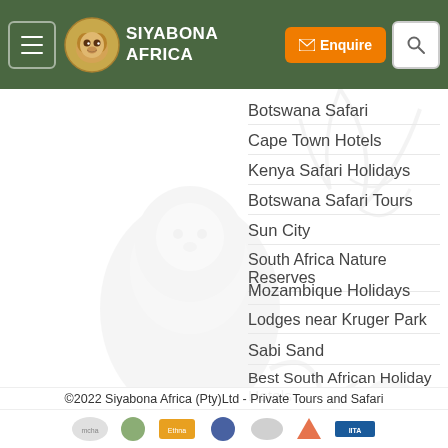Siyabona Africa
Botswana Safari
Cape Town Hotels
Kenya Safari Holidays
Botswana Safari Tours
Sun City
South Africa Nature Reserves
Mozambique Holidays
Lodges near Kruger Park
Sabi Sand
Best South African Holiday Hotels
Timbavati Private Game Reserve
Gorilla Safari
©2022 Siyabona Africa (Pty)Ltd - Private Tours and Safari